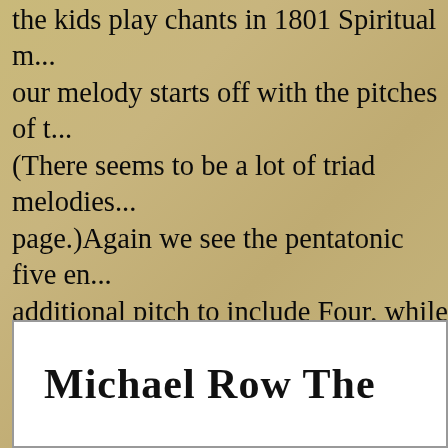the kids play chants in 1801 Spiritual m... our melody starts off with the pitches of t... (There seems to be a lot of triad melodies... page.)Again we see the pentatonic five en... additional pitch to include Four, while Se... present, so no leading tone for the melody... we had chords in this arrangement. So rea... nice example of the balance of two, four b... The first phrase gets us to Four and back... second phrase is basically One / Five and... on One. Thinking in 'C' major. So an eigh... went to #1 ... nice. Example 18.
[Figure (other): White box with song title 'Michael Row The' in bold comic/handwritten style font]